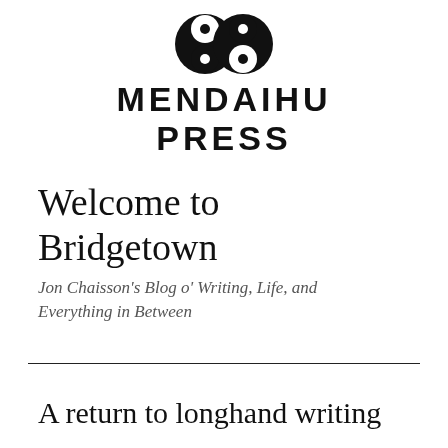[Figure (logo): Mendaihu Press logo: two overlapping circles (yin-yang style) above the text MENDAIHU PRESS in bold sans-serif capital letters]
Welcome to Bridgetown
Jon Chaisson's Blog o' Writing, Life, and Everything in Between
A return to longhand writing